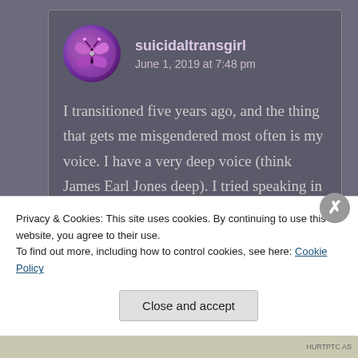suicidaltransgirl
June 1, 2019 at 7:48 pm
I transitioned five years ago, and the thing that gets me misgendered most often is my voice. I have a very deep voice (think James Earl Jones deep). I tried speaking in a higher register for a couple of years and damaged my vocal chords. I've tried watching videos
Privacy & Cookies: This site uses cookies. By continuing to use this website, you agree to their use.
To find out more, including how to control cookies, see here: Cookie Policy
Close and accept